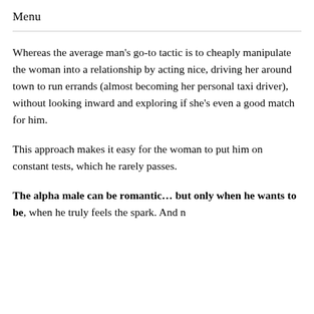Menu
Whereas the average man's go-to tactic is to cheaply manipulate the woman into a relationship by acting nice, driving her around town to run errands (almost becoming her personal taxi driver), without looking inward and exploring if she's even a good match for him.
This approach makes it easy for the woman to put him on constant tests, which he rarely passes.
The alpha male can be romantic… but only when he wants to be, when he truly feels the spark. And n…